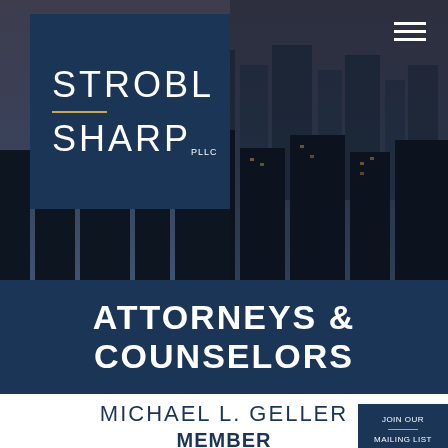[Figure (screenshot): Hero banner with city skyline background at night, dark blue overlay. Contains Strobl Sharp PLLC logo in navy box on left, hamburger menu icon top right.]
STROBL SHARP PLLC
ATTORNEYS & COUNSELORS
JOIN OUR MAILING LIST
MICHAEL L. GELLER
MEMBER